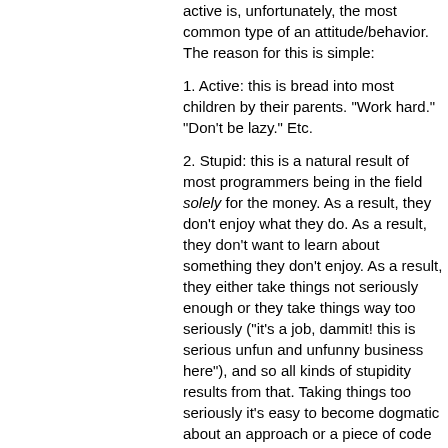active is, unfortunately, the most common type of an attitude/behavior. The reason for this is simple:
1. Active: this is bread into most children by their parents. "Work hard." "Don't be lazy." Etc.
2. Stupid: this is a natural result of most programmers being in the field solely for the money. As a result, they don't enjoy what they do. As a result, they don't want to learn about something they don't enjoy. As a result, they either take things not seriously enough or they take things way too seriously ("it's a job, dammit! this is serious unfun and unfunny business here"), and so all kinds of stupidity results from that. Taking things too seriously it's easy to become dogmatic about an approach or a piece of code and no taking things seriously enough makes it natural to ignore the learning process.
As a result of these two very common scenarios, this is the most dominant behavior. I hasten to say that a person is not stuck in that modality! It is usually possible to shift the programmer out of